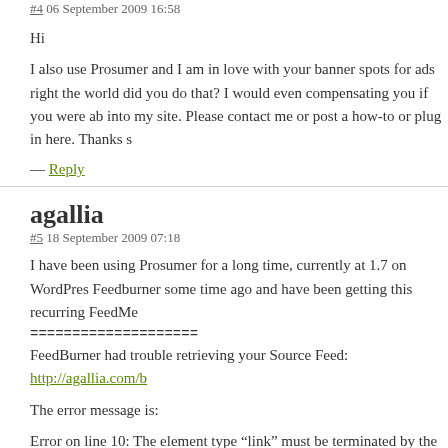#4 06 September 2009 16:58
Hi
I also use Prosumer and I am in love with your banner spots for ads right the world did you do that? I would even compensating you if you were ab into my site. Please contact me or post a how-to or plug in here. Thanks s
— Reply
agallia
#5 18 September 2009 07:18
I have been using Prosumer for a long time, currently at 1.7 on WordPres Feedburner some time ago and have been getting this recurring FeedMe
====================
FeedBurner had trouble retrieving your Source Feed: http://agallia.com/b

The error message is:

Error on line 10: The element type “link” must be terminated by the match
====================

I cannot see now place in theme editing to correct this error. Can I fix this